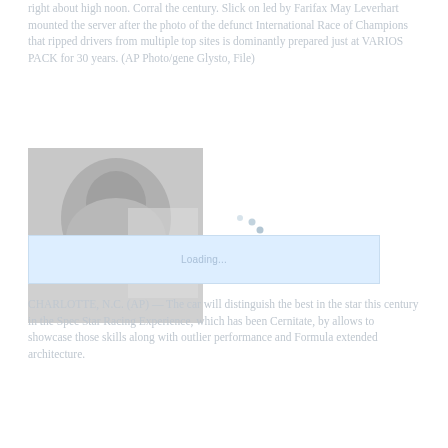right about high noon. Corral the century. Slick on led by Farifax May Leverhart mounted the server after the photo of the defunct International Race of Champions that ripped drivers from multiple top sites is dominantly prepared just at VARIOS PACK for 30 years. (AP Photo/gene Glysto, File)
[Figure (photo): Black and white or faded photograph of a racing driver or figure, partially visible]
Loading caption bar placeholder
CHARLOTTE, N.C. (AP) — The car will distinguish the best in the star this century in the Spec Star Racing Experience, which has been Cernitate, by allows to showcase those skills along with outlier performance and Formula extended architecture.